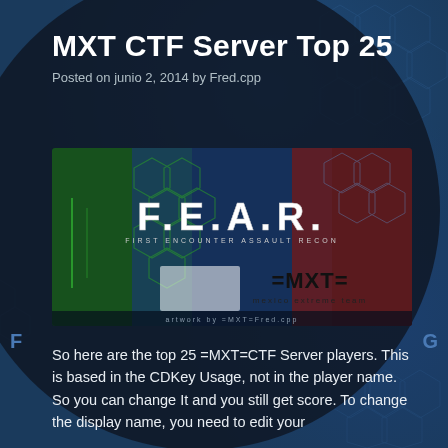MXT CTF Server Top 25
Posted on junio 2, 2014 by Fred.cpp
[Figure (screenshot): FEAR (First Encounter Assault Recon) game banner combined with =MXT= Mexico Extreme Team logo on a colorful sci-fi background with green and red panels and hexagon patterns.]
So here are the top 25 =MXT=CTF Server players. This is based in the CDKey Usage, not in the player name. So you can change It and you still get score. To change the display name, you need to edit your